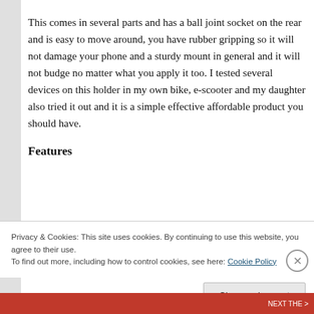This comes in several parts and has a ball joint socket on the rear and is easy to move around, you have rubber gripping so it will not damage your phone and a sturdy mount in general and it will not budge no matter what you apply it too. I tested several devices on this holder in my own bike, e-scooter and my daughter also tried it out and it is a simple effective affordable product you should have.
Features
Privacy & Cookies: This site uses cookies. By continuing to use this website, you agree to their use.
To find out more, including how to control cookies, see here: Cookie Policy